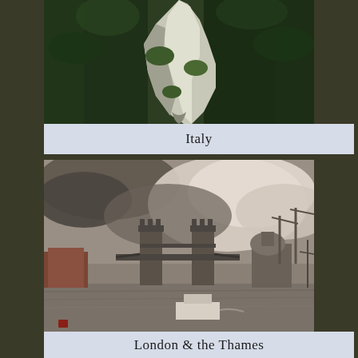[Figure (illustration): Painting of Italian rocky white cliff landscape with green trees and foliage, viewed from above looking down a dramatic white rock formation]
Italy
[Figure (illustration): Painting of Tower Bridge on the Thames river in London with dramatic cloudy sky, boats on water, cranes and city skyline in background, muted earthy tones]
London & the Thames